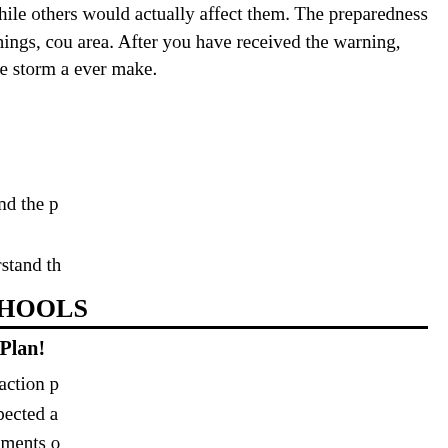Some did not hail the warning while others would actually affect them. The preparedness severe weather watches and warnings, could area. After you have received the warning, decision to seek shelter before the storm a ever make.
◆
Who's Most At Risk?
People in automobiles
The elderly, very young, and the p
People in mobile homes
People who may not understand th
Tornado Safety IN SCHOOLS
Every School Should Have A Plan!
Develop a severe weather action p
Each school should be inspected a engineer or architect. Basements o should use interior rooms and hall
Those responsible for activating th Weather Radio and local radio/tele
If the school's alarm system relies to activate the alarm in case of po